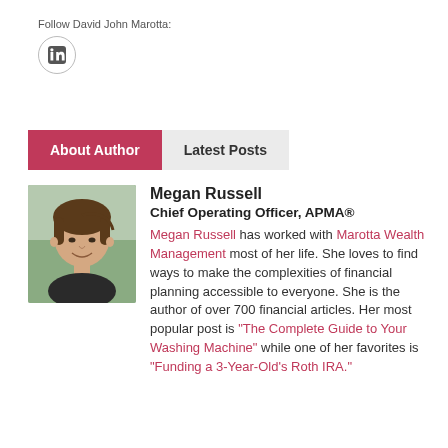Follow David John Marotta:
[Figure (logo): LinkedIn icon button - circular gray bordered button with 'in' LinkedIn logo]
About Author | Latest Posts
[Figure (photo): Headshot photo of Megan Russell, a young woman with brown hair pulled back, smiling, outdoors background]
Megan Russell
Chief Operating Officer, APMA®
Megan Russell has worked with Marotta Wealth Management most of her life. She loves to find ways to make the complexities of financial planning accessible to everyone. She is the author of over 700 financial articles. Her most popular post is "The Complete Guide to Your Washing Machine" while one of her favorites is "Funding a 3-Year-Old's Roth IRA."